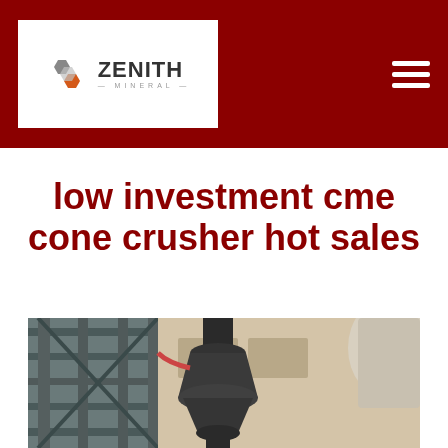[Figure (logo): Zenith Mineral company logo — infinity-style icon in gray and orange, with ZENITH text in dark gray and MINERAL subtitle below, on white background inside dark red header]
low investment cme cone crusher hot sales
[Figure (photo): Industrial cone crusher machine installed in a facility, showing the large conical body with metal framework structure around it, industrial building in background]